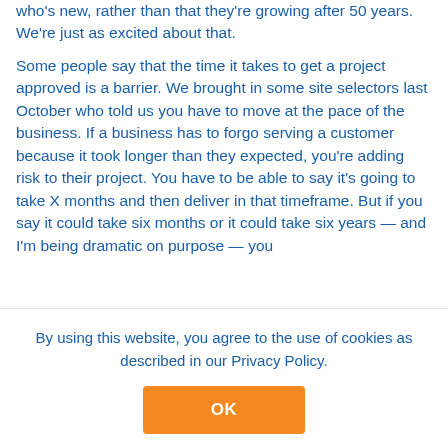who's new, rather than that they're growing after 50 years. We're just as excited about that.
Some people say that the time it takes to get a project approved is a barrier. We brought in some site selectors last October who told us you have to move at the pace of the business. If a business has to forgo serving a customer because it took longer than they expected, you're adding risk to their project. You have to be able to say it's going to take X months and then deliver in that timeframe. But if you say it could take six months or it could take six years — and I'm being dramatic on purpose — you
By using this website, you agree to the use of cookies as described in our Privacy Policy.
OK